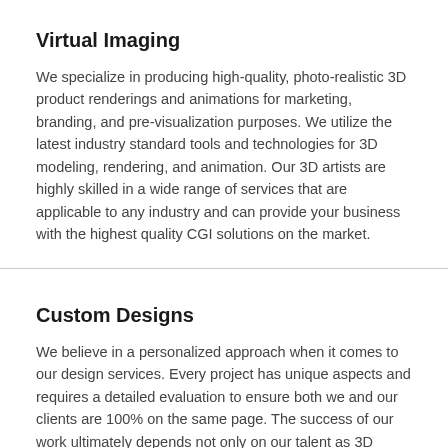Virtual Imaging
We specialize in producing high-quality, photo-realistic 3D product renderings and animations for marketing, branding, and pre-visualization purposes. We utilize the latest industry standard tools and technologies for 3D modeling, rendering, and animation. Our 3D artists are highly skilled in a wide range of services that are applicable to any industry and can provide your business with the highest quality CGI solutions on the market.
Custom Designs
We believe in a personalized approach when it comes to our design services. Every project has unique aspects and requires a detailed evaluation to ensure both we and our clients are 100% on the same page. The success of our work ultimately depends not only on our talent as 3D artists, but also on our ability to communicate and collaborate effectively with our